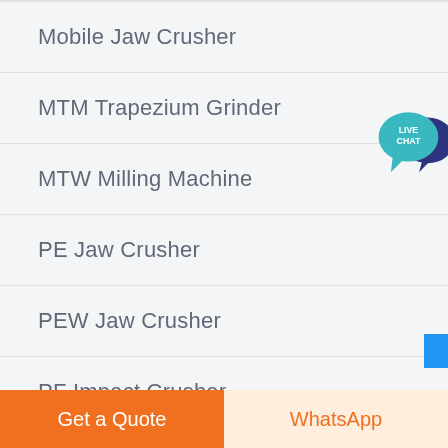Mobile Jaw Crusher
MTM Trapezium Grinder
MTW Milling Machine
PE Jaw Crusher
PEW Jaw Crusher
PF Impact Crusher
[Figure (illustration): Live Chat button with speech bubble icon in teal and dark blue]
Get a Quote
WhatsApp